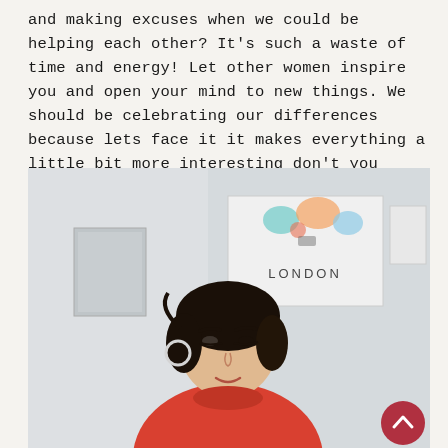and making excuses when we could be helping each other? It's such a waste of time and energy! Let other women inspire you and open your mind to new things. We should be celebrating our differences because lets face it it makes everything a little bit more interesting don't you think?
[Figure (photo): A young Asian woman with short dark hair, wearing a bright orange/red sweater, sitting in front of a white wall with a 'LONDON' poster and colorful artwork pinned to it. She is smiling slightly at the camera. A dark red circular scroll-to-top button appears in the lower right corner of the image.]